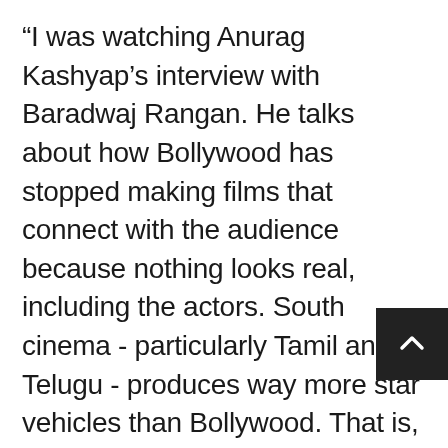“I was watching Anurag Kashyap’s interview with Baradwaj Rangan. He talks about how Bollywood has stopped making films that connect with the audience because nothing looks real, including the actors. South cinema - particularly Tamil and Telugu - produces way more star vehicles than Bollywood. That is, a Hrithik Roshan or Ranbir Kapoor movie cannot just be the stars beating up gangsters and mouthing punch dialogues to zany background music. But in the south, most stars still look like ordinary people and could be from anywhere. They could be doing superhuman things on screen but they look